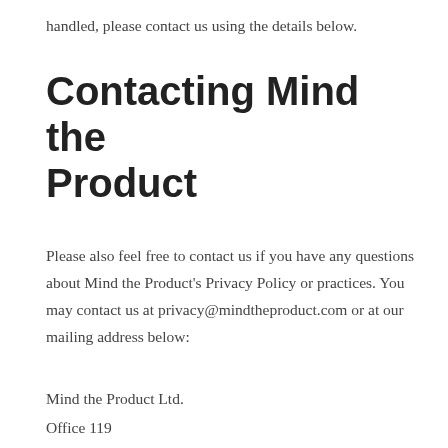handled, please contact us using the details below.
Contacting Mind the Product
Please also feel free to contact us if you have any questions about Mind the Product's Privacy Policy or practices. You may contact us at privacy@mindtheproduct.com or at our mailing address below:
Mind the Product Ltd.
Office 119
Finsbury Business Centre...